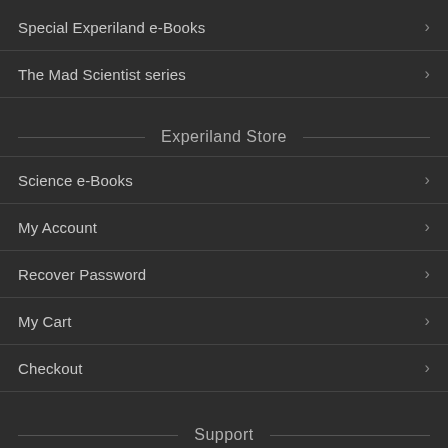Special Experiland e-Books
The Mad Scientist series
Experiland Store
Science e-Books
My Account
Recover Password
My Cart
Checkout
Support